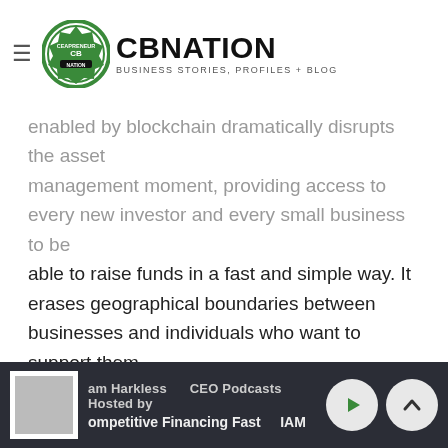CBNation - Business Stories, Profiles + Blog
enabled by blockchain dramatically disrupts the asset management moment, providing access to every new investor and every small business to be able to raise funds in a fast and simple way. It erases geographical boundaries between businesses and individuals who want to support them.
Thanks to Oleg Kurchenko, Binaryx!
#22- Information Technology
Network and internet system testers, assessors, and maintainers work in the IT industry. Computer support professions, such as computer support specialists at a help
am Harkless | CEO Podcasts Hosted by | ompetitive Financing Fast | IAM